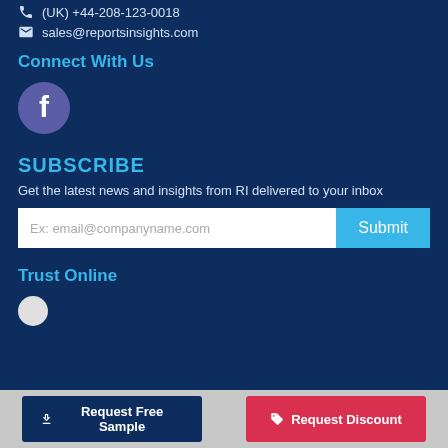(UK) +44-208-123-0018
sales@reportsinsights.com
Connect With Us
[Figure (logo): Facebook icon - circular purple/blue button with white F logo]
SUBSCRIBE
Get the latest news and insights from RI delivered to your inbox
Ex: email@companyname.com [Submit button]
Trust Online
[Figure (logo): Small white/light circular trust badge]
Request Free Sample
Request Discount